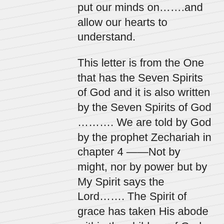put our minds on…….and allow our hearts to understand.

This letter is from the One that has the Seven Spirits of God and it is also written by the Seven Spirits of God ………. We are told by God by the prophet Zechariah in chapter 4 ——Not by might, nor by power but by My Spirit says the Lord……. The Spirit of grace has taken His abode within the children of God, the ones who call on the name of the Lord Jesus……. We are His and His Spirit is within us. We are no longer naked but clothed in the Spirit of God, His righteousness and holiness. There is no store on this earth that can clothe us in such riches as did our gracious God